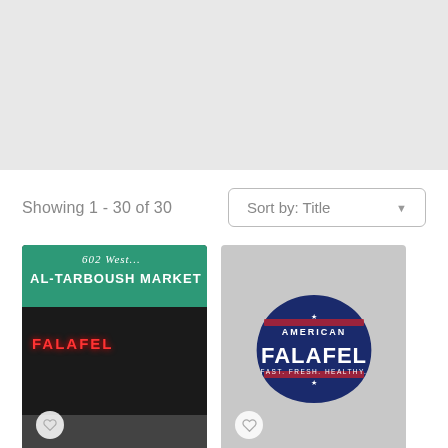[Figure (map): Light gray map background, top portion of the page]
Showing 1 - 30 of 30
Sort by: Title
[Figure (photo): Storefront photo of Al-Tarboush Market with green teal awning, text 'AL-TARBOUSH MARKET' and '602 West...' in script, red FALAFEL neon sign in window, dark storefront, outdoor tables in foreground]
[Figure (logo): American Falafel logo on light gray background. Navy blue badge shape with red accent stripes, text 'AMERICAN' at top, large 'FALAFEL' in white bold letters, 'FAST. FRESH. HEALTHY.' at bottom]